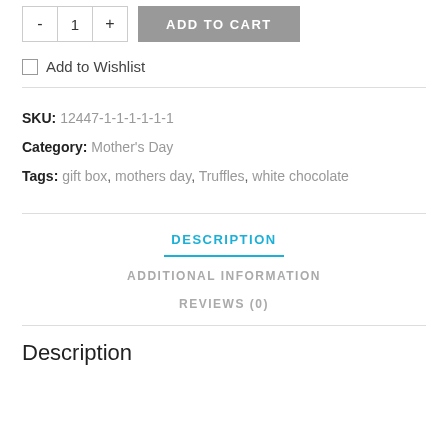[Figure (screenshot): Add to cart UI with quantity selector (minus, 1, plus) and grey ADD TO CART button]
Add to Wishlist
SKU: 12447-1-1-1-1-1-1
Category: Mother's Day
Tags: gift box, mothers day, Truffles, white chocolate
DESCRIPTION
ADDITIONAL INFORMATION
REVIEWS (0)
Description